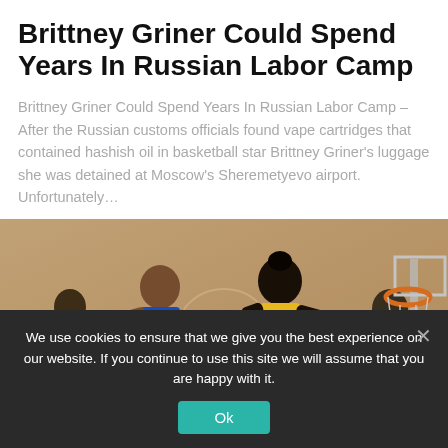Brittney Griner Could Spend Years In Russian Labor Camp
Brittney Griner Could Spend Years In Russian Labor Camp – After the Russian customs officials found vape cartridges that contained hashish oil in basketball star Brittney Griner's luggage she was detained at Moscow's Sheremetyevo airport. Unfortunately…
[Figure (photo): Basketball players mid-game, showing athletes in blue and yellow uniforms near a basketball hoop]
We use cookies to ensure that we give you the best experience on our website. If you continue to use this site we will assume that you are happy with it.